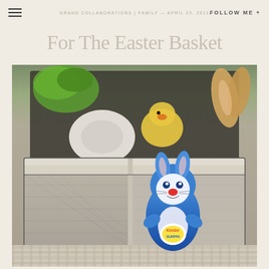GRAND COLLABORATIONS | FAMILY — APRIL 25, 2011    FOLLOW ME +
For The Easter Basket
[Figure (photo): A wire and linen fabric basket filled with Easter items including stuffed animals (chick, bunny ears), green cellophane, and other toys, with a blue foil Kinder Surprise chocolate bunny leaning against the front of the basket, set on a plaid/gingham cloth surface.]